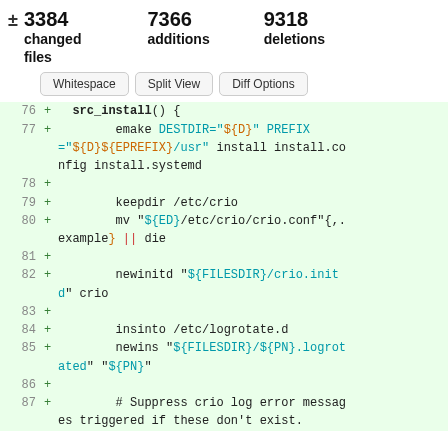3384 changed files   7366 additions   9318 deletions
Whitespace  Split View  Diff Options
76  +  src_install() {
77  +      emake DESTDIR="${D}" PREFIX="${D}${EPREFIX}/usr" install install.config install.systemd
78  +
79  +      keepdir /etc/crio
80  +      mv "${ED}/etc/crio/crio.conf"{,.example} || die
81  +
82  +      newinitd "${FILESDIR}/crio.initd" crio
83  +
84  +      insinto /etc/logrotate.d
85  +      newins "${FILESDIR}/${PN}.logrotated" "${PN}"
86  +
87  +      # Suppress crio log error messages triggered if these don't exist.